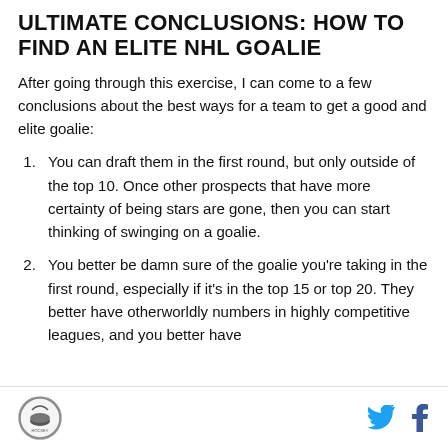ULTIMATE CONCLUSIONS: HOW TO FIND AN ELITE NHL GOALIE
After going through this exercise, I can come to a few conclusions about the best ways for a team to get a good and elite goalie:
You can draft them in the first round, but only outside of the top 10. Once other prospects that have more certainty of being stars are gone, then you can start thinking of swinging on a goalie.
You better be damn sure of the goalie you're taking in the first round, especially if it's in the top 15 or top 20. They better have otherworldly numbers in highly competitive leagues, and you better have